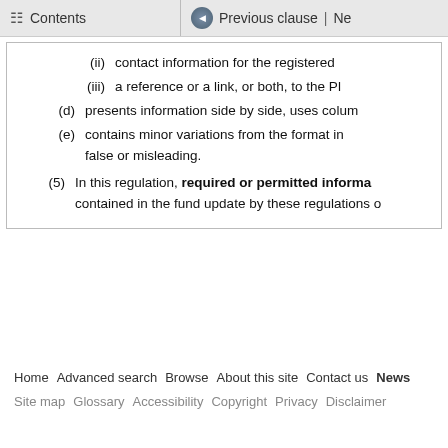Contents | Previous clause | Ne
(ii) contact information for the registered
(iii) a reference or a link, or both, to the Pl
(d) presents information side by side, uses colum
(e) contains minor variations from the format in false or misleading.
(5) In this regulation, required or permitted informa contained in the fund update by these regulations o
Home | Advanced search | Browse | About this site | Contact us | News
Site map | Glossary | Accessibility | Copyright | Privacy | Disclaimer